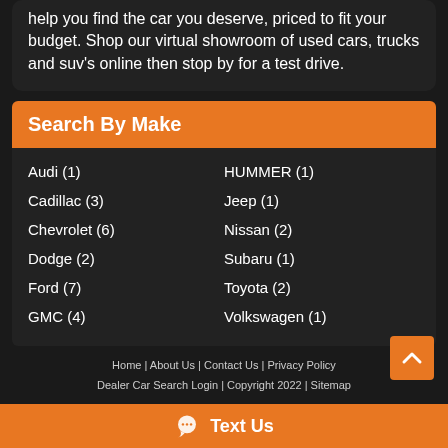help you find the car you deserve, priced to fit your budget. Shop our virtual showroom of used cars, trucks and suv's online then stop by for a test drive.
Search By Make
Audi (1)
Cadillac (3)
Chevrolet (6)
Dodge (2)
Ford (7)
GMC (4)
HUMMER (1)
Jeep (1)
Nissan (2)
Subaru (1)
Toyota (2)
Volkswagen (1)
Home | About Us | Contact Us | Privacy Policy
Dealer Car Search Login | Copyright 2022 | Sitemap
Text Us